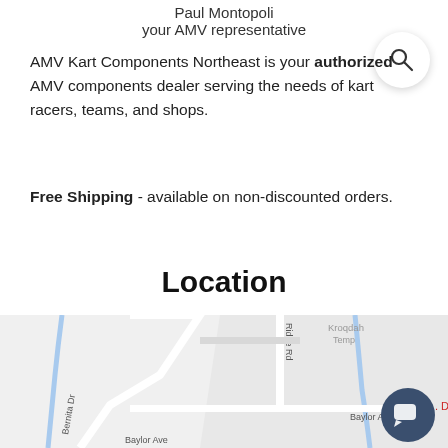Paul Montopoli
your AMV representative
AMV Kart Components Northeast is your authorized AMV components dealer serving the needs of kart racers, teams, and shops.
Free Shipping - available on non-discounted orders.
Location
[Figure (map): Street map showing Ridge Rd, Baylor Ave, Bernita Dr, and a label for Kroqdah Temp in the upper right corner. Blue lines indicate waterways or roads.]